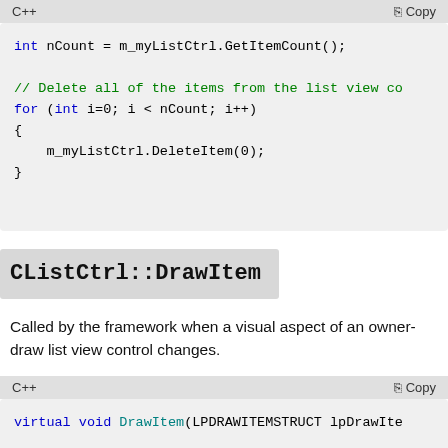[Figure (screenshot): C++ code block showing int nCount = m_myListCtrl.GetItemCount(); followed by a for loop deleting items]
CListCtrl::DrawItem
Called by the framework when a visual aspect of an owner-draw list view control changes.
[Figure (screenshot): C++ code block showing: virtual void DrawItem(LPDRAWITEMSTRUCT lpDrawIte...]